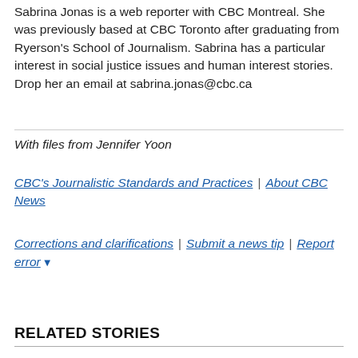Sabrina Jonas is a web reporter with CBC Montreal. She was previously based at CBC Toronto after graduating from Ryerson's School of Journalism. Sabrina has a particular interest in social justice issues and human interest stories. Drop her an email at sabrina.jonas@cbc.ca
With files from Jennifer Yoon
CBC's Journalistic Standards and Practices | About CBC News
Corrections and clarifications | Submit a news tip | Report error ▾
RELATED STORIES